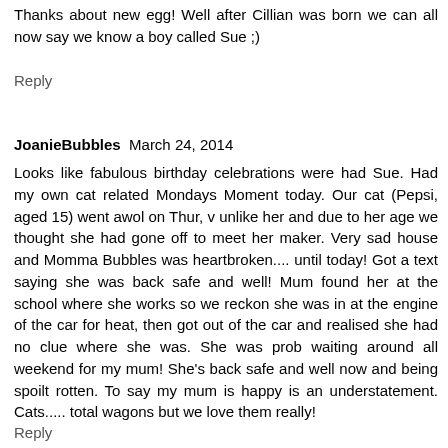Thanks about new egg! Well after Cillian was born we can all now say we know a boy called Sue ;)
Reply
JoanieBubbles  March 24, 2014
Looks like fabulous birthday celebrations were had Sue. Had my own cat related Mondays Moment today. Our cat (Pepsi, aged 15) went awol on Thur, v unlike her and due to her age we thought she had gone off to meet her maker. Very sad house and Momma Bubbles was heartbroken.... until today! Got a text saying she was back safe and well! Mum found her at the school where she works so we reckon she was in at the engine of the car for heat, then got out of the car and realised she had no clue where she was. She was prob waiting around all weekend for my mum! She's back safe and well now and being spoilt rotten. To say my mum is happy is an understatement. Cats..... total wagons but we love them really!
Reply